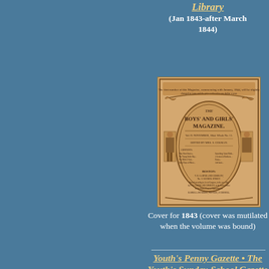Library (Jan 1843-after March 1844)
[Figure (photo): Cover of Boys' and Girls' Magazine for 1843, a Victorian-era children's magazine cover with ornate decorative border featuring scrollwork and figures, published in Boston.]
Cover for 1843 (cover was mutilated when the volume was bound)
Youth's Penny Gazette • The Youth's Sunday-School Gazette (11 Jan 1843-1861)